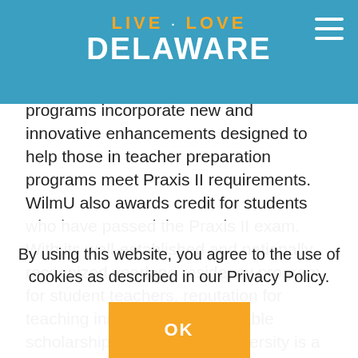LIVE · LOVE DELAWARE
subject-specific content knowledge for state licensure and certifications. While this research is occurring, Wilmington University's teacher preparation programs incorporate new and innovative enhancements designed to help those in teacher preparation programs meet Praxis II requirements. WilmU also awards credit for students who have passed the Praxis II exam. With its well-established and nationally recognized yearlong residency program for student teachers, reputation for teaching innovation and available scholarships, Wilmington University is a leader in providing more
By using this website, you agree to the use of cookies as described in our Privacy Policy.
OK